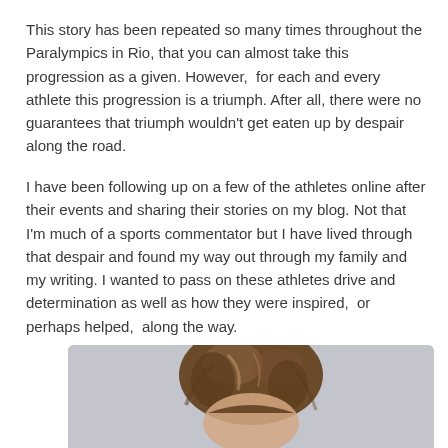This story has been repeated so many times throughout the Paralympics in Rio, that you can almost take this progression as a given. However,  for each and every athlete this progression is a triumph. After all, there were no guarantees that triumph wouldn't get eaten up by despair along the road.
I have been following up on a few of the athletes online after their events and sharing their stories on my blog. Not that I'm much of a sports commentator but I have lived through that despair and found my way out through my family and my writing. I wanted to pass on these athletes drive and determination as well as how they were inspired,  or perhaps helped,  along the way.
[Figure (photo): A partial photo of a person with medium-length brown hair, visible from roughly the forehead up, against a light gray background.]